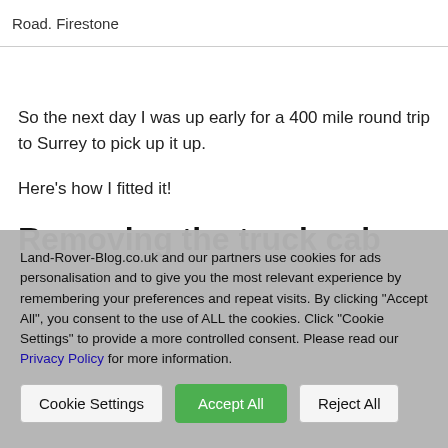Road. Firestone
So the next day I was up early for a 400 mile round trip to Surrey to pick up it up.
Here's how I fitted it!
Removing the truck cab
Land-Rover-Blog.co.uk and our partners use cookies for ads personalisation and to give you the most relevant experience by remembering your preferences and repeat visits. By clicking "Accept All", you consent to the use of ALL the cookies. Click "Cookie Settings" to provide a more controlled consent. Please read our Privacy Policy for more information.